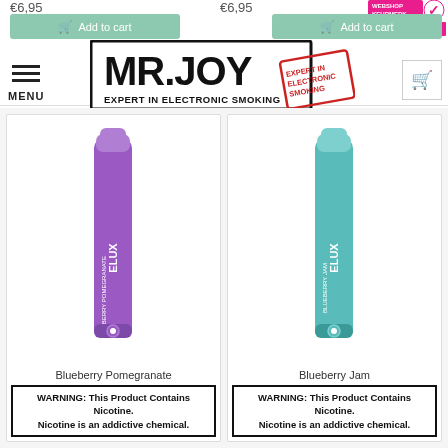€6,95   €6,95
[Figure (logo): MR.JOY logo with text EXPERT IN ELECTRONIC SMOKING and a red stamp badge]
[Figure (photo): Purple Elux vape device - Blueberry Pomegranate flavor]
Blueberry Pomegranate
WARNING: This Product Contains Nicotine. Nicotine is an addictive chemical.
[Figure (photo): Teal/green Elux vape device - Blueberry Jam flavor]
Blueberry Jam
WARNING: This Product Contains Nicotine. Nicotine is an addictive chemical.